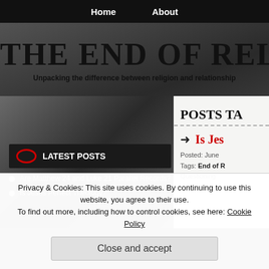Home   About
THE END OF RELIG
Unpacking the difference between religion and relationship
LATEST POSTS
Are Matthew 24 and Luke 21 Parallel Records?
Is Jesus Perfect Theology?
POSTS TA
Is Jes
Posted: June
Tags: End of R
Questioning
Privacy & Cookies: This site uses cookies. By continuing to use this website, you agree to their use.
To find out more, including how to control cookies, see here: Cookie Policy
Close and accept